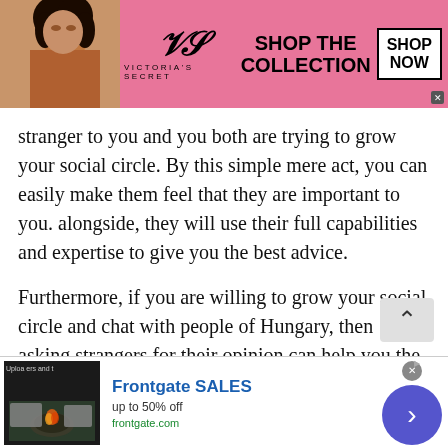[Figure (other): Victoria's Secret advertisement banner with pink background, model photo, VS logo, 'SHOP THE COLLECTION' text, and 'SHOP NOW' button]
stranger to you and you both are trying to grow your social circle. By this simple mere act, you can easily make them feel that they are important to you. alongside, they will use their full capabilities and expertise to give you the best advice.

Furthermore, if you are willing to grow your social circle and chat with people of Hungary, then asking strangers for their opinion can help you the most. Here is how you can use it in other ways: take an
[Figure (other): Frontgate SALES advertisement banner with outdoor furniture image, 'up to 50% off' text, frontgate.com URL, and blue arrow button]